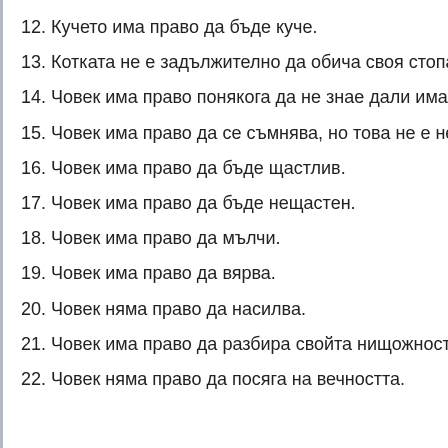12. Кучето има право да бъде куче.
13. Котката не е задължително да обича своя стопанин, но в тру…
14. Човек има право понякога да не знае дали има задължения.
15. Човек има право да се съмнява, но това не е негово задълже…
16. Човек има право да бъде щастлив.
17. Човек има право да бъде нещастен.
18. Човек има право да мълчи.
19. Човек има право да вярва.
20. Човек няма право да насилва.
21. Човек има право да разбира свойта нищожност и величие.
22. Човек няма право да посяга на вечността.